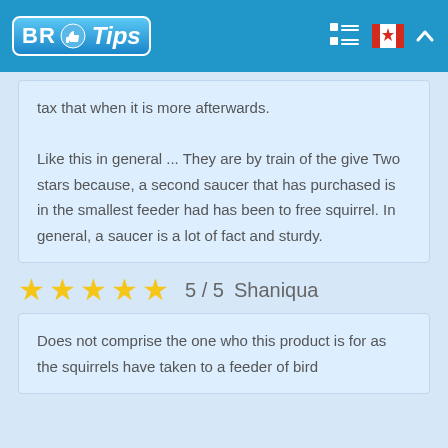BR Tips
tax that when it is more afterwards.

Like this in general ... They are by train of the give Two stars because, a second saucer that has purchased is in the smallest feeder had has been to free squirrel. In general, a saucer is a lot of fact and sturdy.
5 / 5  Shaniqua
Does not comprise the one who this product is for as the squirrels have taken to a feeder of bird